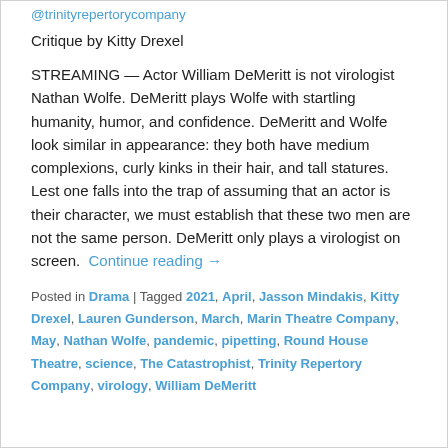@trinityrepertorycompany
Critique by Kitty Drexel
STREAMING — Actor William DeMeritt is not virologist Nathan Wolfe. DeMeritt plays Wolfe with startling humanity, humor, and confidence. DeMeritt and Wolfe look similar in appearance: they both have medium complexions, curly kinks in their hair, and tall statures. Lest one falls into the trap of assuming that an actor is their character, we must establish that these two men are not the same person. DeMeritt only plays a virologist on screen.  Continue reading →
Posted in Drama | Tagged 2021, April, Jasson Mindakis, Kitty Drexel, Lauren Gunderson, March, Marin Theatre Company, May, Nathan Wolfe, pandemic, pipetting, Round House Theatre, science, The Catastrophist, Trinity Repertory Company, virology, William DeMeritt